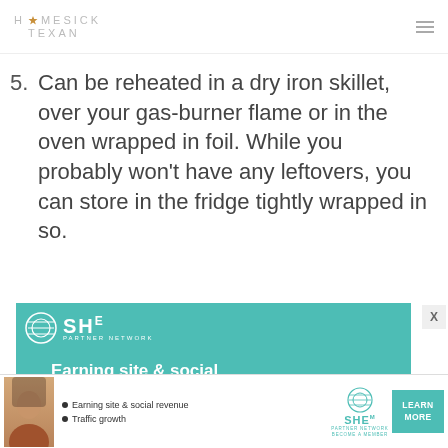HOMESICK TEXAN
5. Can be reheated in a dry iron skillet, over your gas-burner flame or in the oven wrapped in foil. While you probably won't have any leftovers, you can store in the fridge tightly wrapped in so.
[Figure (infographic): SHE Partner Network advertisement banner in teal/turquoise color with SHE logo and text 'Earning site & social']
[Figure (infographic): Bottom advertisement bar for SHE Partner Network showing a person, bullet points 'Earning site & social revenue' and 'Traffic growth', SHE logo, and a 'LEARN MORE' teal button]